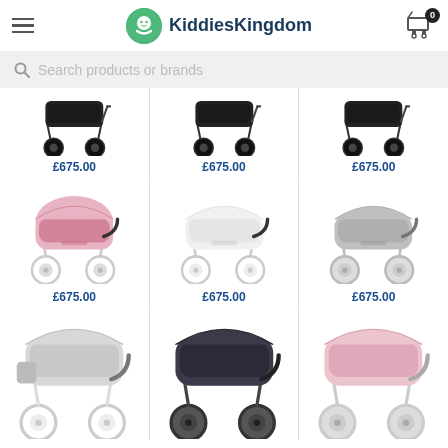KiddiesKingdom
Search products or brands
[Figure (screenshot): Row of 3 baby pram/stroller products each priced at £675.00 (dark/black color variants), partially cropped at top]
£675.00
£675.00
£675.00
[Figure (screenshot): Row of 3 baby pram/stroller products each priced at £675.00 (pink, white, grey color variants)]
£675.00
£675.00
£675.00
[Figure (screenshot): Row of 3 baby pram/stroller products partially visible at bottom (grey, dark grey/navy, pink color variants)]